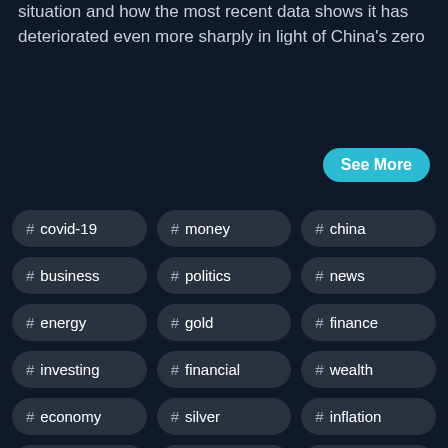situation and how the most recent data shows it has deteriorated even more sharply in light of China's zero
See More
# covid-19
# money
# china
# business
# politics
# news
# energy
# gold
# finance
# investing
# financial
# wealth
# economy
# silver
# inflation
# sense
# markets
# broadcast
# oil
# bomb
# stocks
# fed